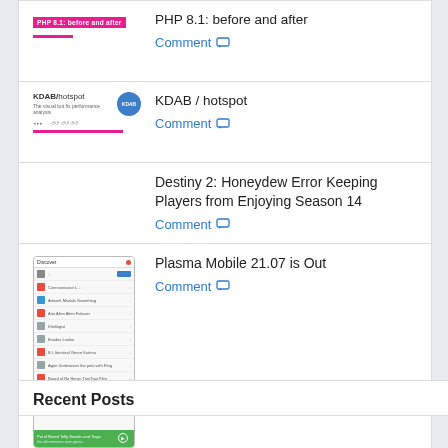PHP 8.1: before and after — Comment
KDAB / hotspot — Comment
Destiny 2: Honeydew Error Keeping Players from Enjoying Season 14 — Comment
Plasma Mobile 21.07 is Out — Comment
Recent Posts